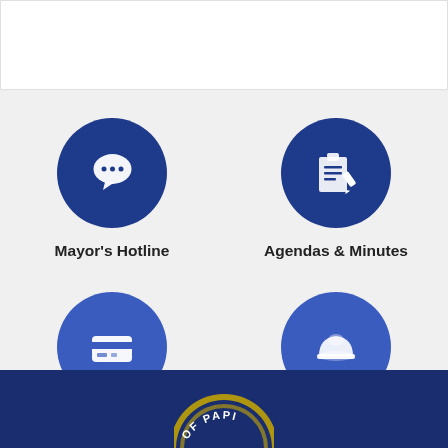[Figure (infographic): Four service icons in a 2x2 grid on a light gray background. Top-left: dark blue circle with white speech bubble icon, labeled Mayor's Hotline. Top-right: dark blue circle with white clipboard/pencil icon, labeled Agendas & Minutes. Bottom-left: medium blue circle with white credit card icon, labeled Pay Online. Bottom-right: medium blue circle with white hard hat icon, labeled Online Permits.]
City seal partial logo at bottom on dark navy blue background